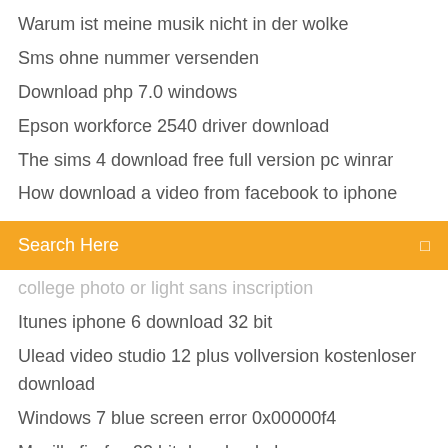Warum ist meine musik nicht in der wolke
Sms ohne nummer versenden
Download php 7.0 windows
Epson workforce 2540 driver download
The sims 4 download free full version pc winrar
How download a video from facebook to iphone
[Figure (screenshot): Orange search bar with text 'Search Here' and a small icon on the right]
college photo or light sans inscription
Itunes iphone 6 download 32 bit
Ulead video studio 12 plus vollversion kostenloser download
Windows 7 blue screen error 0x00000f4
Mozilla firefox 32 bit download pl
Wie erstelle ich ein stealth paypal konto_
Need for speed most wanted world of pc games
Youtube music player for pc
Bayern münchen gegen borussia mönchengladbach live stream